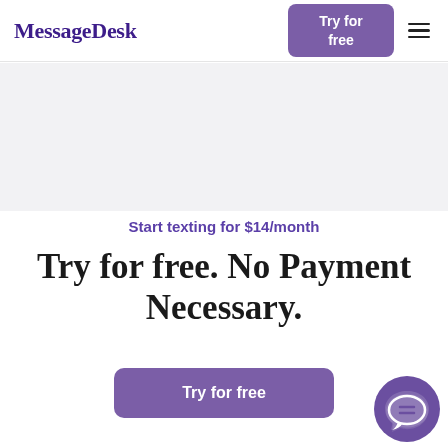MessageDesk
Try for free
Start texting for $14/month
Try for free. No Payment Necessary.
Try for free
[Figure (illustration): Purple circular chat bubble icon in bottom right corner]